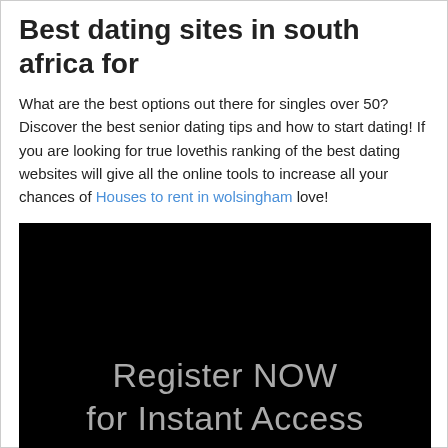Best dating sites in south africa for
What are the best options out there for singles over 50? Discover the best senior dating tips and how to start dating! If you are looking for true lovethis ranking of the best dating websites will give all the online tools to increase all your chances of Houses to rent in wolsingham love!
There are lots of tips and different guides available on the Internet to help you find love in digital platforms.
[Figure (other): Black banner image with grey text reading 'Register NOW for Instant Access']